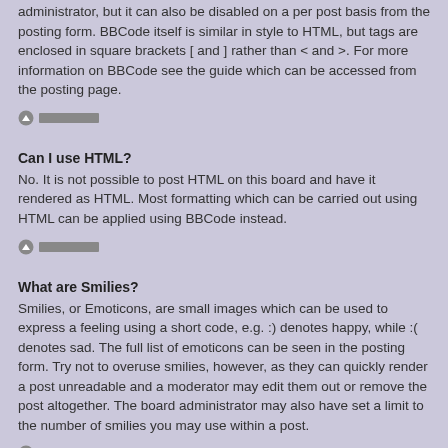administrator, but it can also be disabled on a per post basis from the posting form. BBCode itself is similar in style to HTML, but tags are enclosed in square brackets [ and ] rather than < and >. For more information on BBCode see the guide which can be accessed from the posting page.
▲ ███████
Can I use HTML?
No. It is not possible to post HTML on this board and have it rendered as HTML. Most formatting which can be carried out using HTML can be applied using BBCode instead.
▲ ███████
What are Smilies?
Smilies, or Emoticons, are small images which can be used to express a feeling using a short code, e.g. :) denotes happy, while :( denotes sad. The full list of emoticons can be seen in the posting form. Try not to overuse smilies, however, as they can quickly render a post unreadable and a moderator may edit them out or remove the post altogether. The board administrator may also have set a limit to the number of smilies you may use within a post.
▲ ███████
Can I post images?
Yes, images can be shown in your posts. If the administrator has allowed